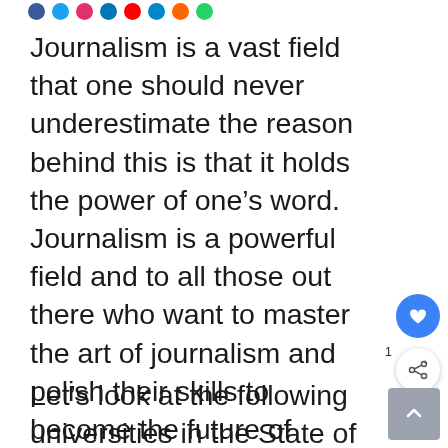[Social share icons row]
Journalism is a vast field that one should never underestimate the reason behind this is that it holds the power of one’s word. Journalism is a powerful field and to all those out there who want to master the art of journalism and polish their skills to become the future of journalism then you are at the right place.
Let’s look at the following universities in the State of California